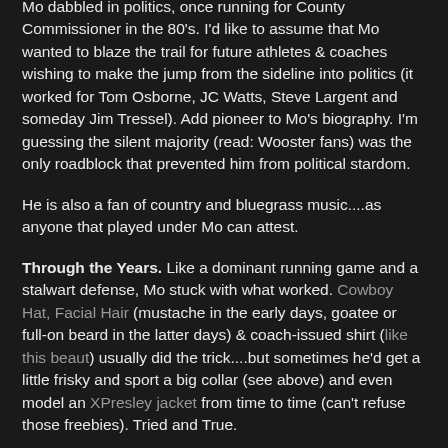Mo dabbled in politics, once running for County Commissioner in the 80's. I'd like to assume that Mo wanted to blaze the trail for future athletes & coaches wishing to make the jump from the sideline into politics (it worked for Tom Osborne, JC Watts, Steve Largent and someday Jim Tressel). Add pioneer to Mo's biography. I'm guessing the silent majority (read: Wooster fans) was the only roadblock that prevented him from political stardom.
He is also a fan of country and bluegrass music....as anyone that played under Mo can attest.
Through the Years. Like a dominant running game and a stalwart defense, Mo stuck with what worked. Cowboy Hat, Facial Hair (mustache in the early days, goatee or full-on beard in the latter days) & coach-issued shirt (like this beaut) usually did the trick....but sometimes he'd get a little frisky and sport a big collar (see above) and even model an XPresley jacket from time to time (can't refuse those freebies). Tried and True.
Of all the pictures of Mo, this one simply DEFINES Orrville